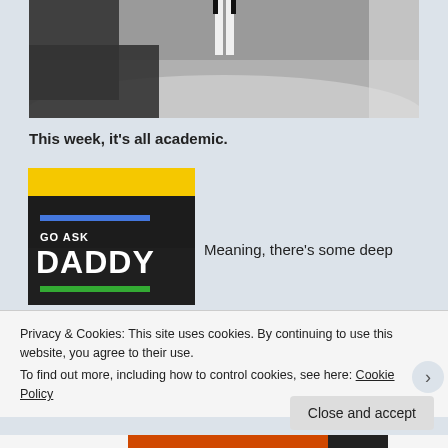[Figure (photo): Partial photo showing legs of a figure standing on a rounded metallic or concrete surface, dark background]
This week, it's all academic.
[Figure (illustration): Thumbnail image for 'Go Ask Daddy' blog/podcast — yellow top bar, dark background with blue bar, text 'GO ASK DADDY' in white bold, green bar at bottom]
Meaning, there's some deep
Privacy & Cookies: This site uses cookies. By continuing to use this website, you agree to their use.
To find out more, including how to control cookies, see here: Cookie Policy
Close and accept